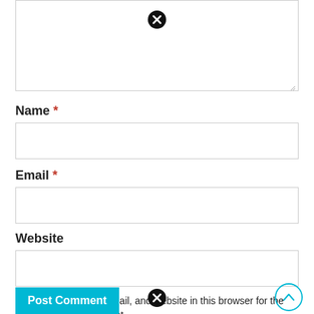[Figure (screenshot): Top portion of a web comment form showing a text area with a close (X) icon at top center and a resize handle at bottom right]
Name *
[Figure (screenshot): Empty input field for Name]
Email *
[Figure (screenshot): Empty input field for Email]
Website
[Figure (screenshot): Empty input field for Website]
Save my name, email, and website in this browser for the next time I comment.
Post Comment
[Figure (other): Scroll-to-top circular arrow button (cyan outline, upward chevron) at bottom right]
[Figure (other): Close (X) circle icon at bottom center]